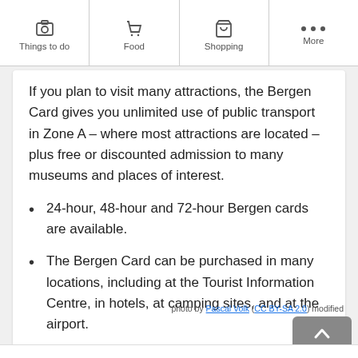Things to do | Food | Shopping | More
If you plan to visit many attractions, the Bergen Card gives you unlimited use of public transport in Zone A – where most attractions are located – plus free or discounted admission to many museums and places of interest.
24-hour, 48-hour and 72-hour Bergen cards are available.
The Bergen Card can be purchased in many locations, including at the Tourist Information Centre, in hotels, at camping sites, and at the airport.
photo by Pascal Volk (CC BY-SA 2.0) modified